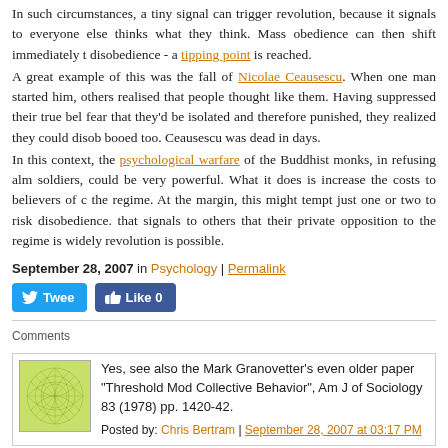In such circumstances, a tiny signal can trigger revolution, because it signals to everyone else thinks what they think. Mass obedience can then shift immediately to disobedience - a tipping point is reached.
A great example of this was the fall of Nicolae Ceausescu. When one man started him, others realised that people thought like them. Having suppressed their true bel fear that they'd be isolated and therefore punished, they realized they could disob booed too. Ceausescu was dead in days.
In this context, the psychological warfare of the Buddhist monks, in refusing alm soldiers, could be very powerful. What it does is increase the costs to believers of c the regime. At the margin, this might tempt just one or two to risk disobedience. that signals to others that their private opposition to the regime is widely revolution is possible.
September 28, 2007 in Psychology | Permalink
[Figure (other): Tweet and Like buttons]
Comments
[Figure (illustration): Green geometric avatar image]
Yes, see also the Mark Granovetter's even older paper "Threshold Mod Collective Behavior", Am J of Sociology 83 (1978) pp. 1420-42.
Posted by: Chris Bertram | September 28, 2007 at 03:17 PM